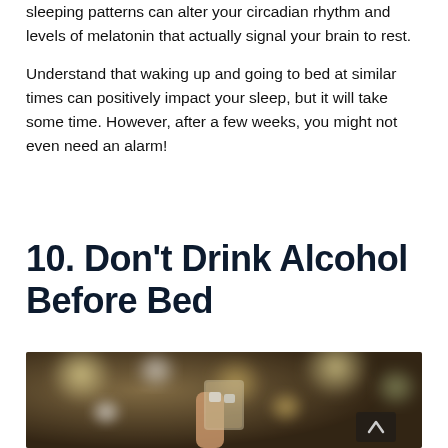sleeping patterns can alter your circadian rhythm and levels of melatonin that actually signal your brain to rest.
Understand that waking up and going to bed at similar times can positively impact your sleep, but it will take some time. However, after a few weeks, you might not even need an alarm!
10. Don't Drink Alcohol Before Bed
[Figure (photo): A hand holding a glass of whiskey with ice cubes against a blurred bar background with bokeh lights.]